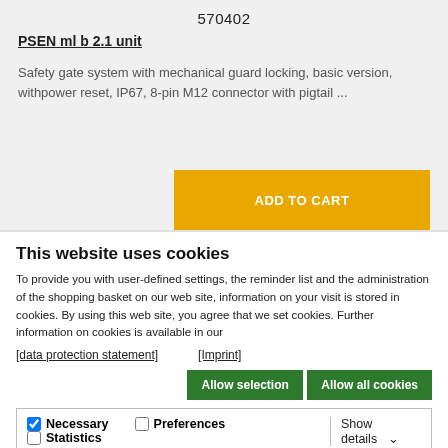570402
PSEN ml b 2.1 unit
Safety gate system with mechanical guard locking, basic version, withpower reset, IP67, 8-pin M12 connector with pigtail ...
This website uses cookies
To provide you with user-defined settings, the reminder list and the administration of the shopping basket on our web site, information on your visit is stored in cookies. By using this web site, you agree that we set cookies. Further information on cookies is available in our
[data protection statement]    [Imprint]
Allow selection    Allow all cookies
Necessary  Preferences  Statistics  Marketing  Show details